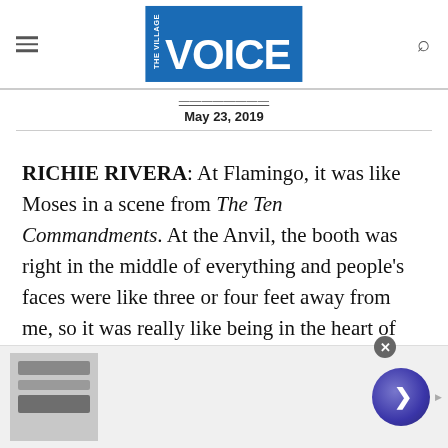The Village Voice
May 23, 2019
RICHIE RIVERA: At Flamingo, it was like Moses in a scene from The Ten Commandments. At the Anvil, the booth was right in the middle of everything and people’s faces were like three or four feet away from me, so it was really like being in the heart of the whole proceedings.
[Figure (screenshot): Advertisement banner for Wayfair Online Home Store for Furniture with product image and circular play/next button]